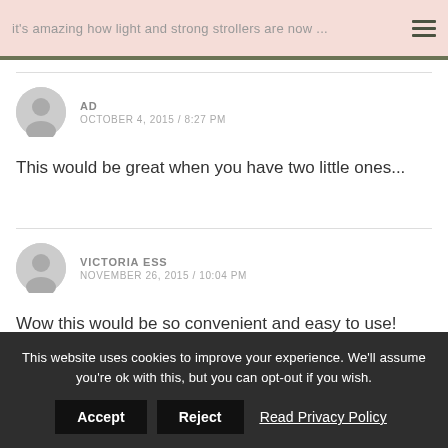it's amazing how light and strong strollers are now ...
AD
OCTOBER 4, 2015 / 8:27 PM
This would be great when you have two little ones...
VICTORIA ESS
NOVEMBER 26, 2015 / 10:04 PM
Wow this would be so convenient and easy to use!
This website uses cookies to improve your experience. We'll assume you're ok with this, but you can opt-out if you wish. Accept Reject Read Privacy Policy